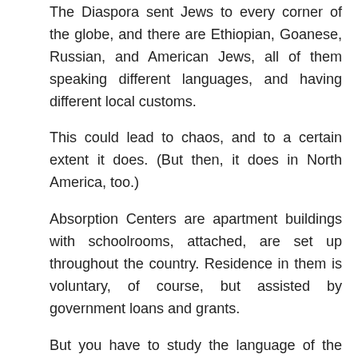The Diaspora sent Jews to every corner of the globe, and there are Ethiopian, Goanese, Russian, and American Jews, all of them speaking different languages, and having different local customs.
This could lead to chaos, and to a certain extent it does. (But then, it does in North America, too.)
Absorption Centers are apartment buildings with schoolrooms, attached, are set up throughout the country. Residence in them is voluntary, of course, but assisted by government loans and grants.
But you have to study the language of the country:
Almost every absorption center has classrooms for Hebrew study, or Ulpan. A few absorption centers do not offer classes on-site, but they are associated with nearby Ulpanim. In any case, the five-month Ulpan is compulsory for all absorption center residents.